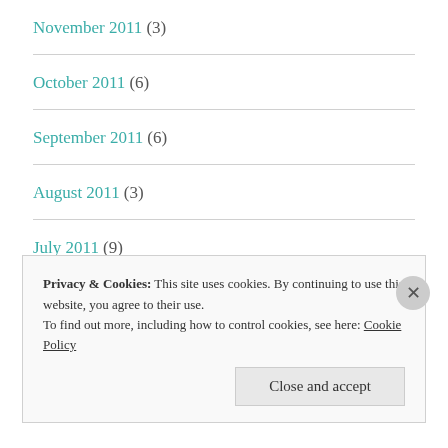November 2011 (3)
October 2011 (6)
September 2011 (6)
August 2011 (3)
July 2011 (9)
June 2011 (11)
Privacy & Cookies: This site uses cookies. By continuing to use this website, you agree to their use.
To find out more, including how to control cookies, see here: Cookie Policy
Close and accept